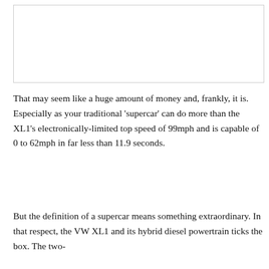[Figure (photo): Placeholder image box (white rectangle with border), likely a photograph of a car or vehicle-related image on the original page.]
That may seem like a huge amount of money and, frankly, it is. Especially as your traditional ‘supercar’ can do more than the XL1’s electronically-limited top speed of 99mph and is capable of 0 to 62mph in far less than 11.9 seconds.
But the definition of a supercar means something extraordinary. In that respect, the VW XL1 and its hybrid diesel powertrain ticks the box. The two-